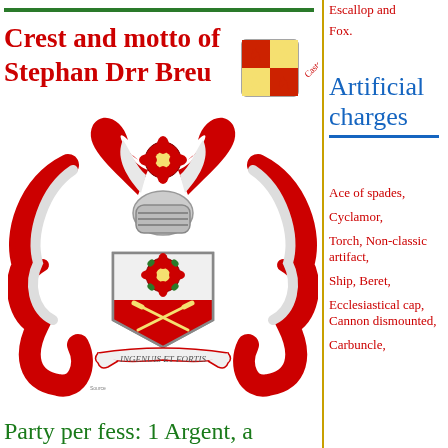Crest and motto of Stephan Drr Breu
[Figure (illustration): Coat of arms / heraldic crest of Stephan Drr Breu, featuring a red and white shield with crossed swords and a rose, topped with a red and white winged helm crest, surrounded by red mantling. A scroll below reads INGENUIS ET FORTIS. A small quartered coat of arms badge labeled Castellano appears top right.]
Party per fess: 1 Argent, a
Escallop and Fox.
Artificial charges
Ace of spades,
Cyclamor,
Torch, Non-classic artifact,
Ship, Beret,
Ecclesiastical cap, Cannon dismounted,
Carbuncle,